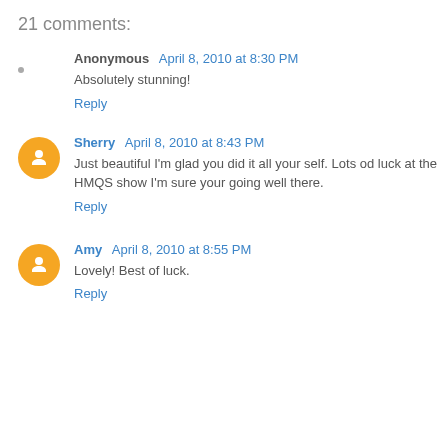21 comments:
Anonymous  April 8, 2010 at 8:30 PM
Absolutely stunning!
Reply
Sherry  April 8, 2010 at 8:43 PM
Just beautiful I'm glad you did it all your self. Lots od luck at the HMQS show I'm sure your going well there.
Reply
Amy  April 8, 2010 at 8:55 PM
Lovely! Best of luck.
Reply